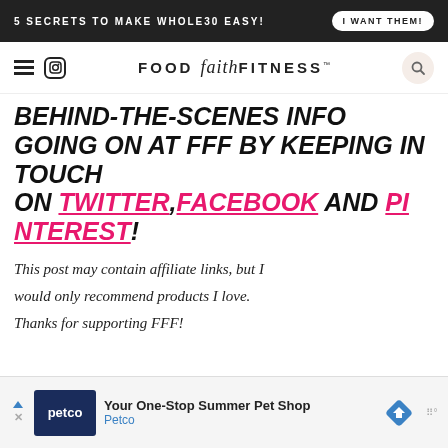5 SECRETS TO MAKE WHOLE30 EASY! | I WANT THEM!
FOOD faith FITNESS
BEHIND-THE-SCENES INFO GOING ON AT FFF BY KEEPING IN TOUCH ON TWITTER, FACEBOOK AND PINTEREST!
This post may contain affiliate links, but I would only recommend products I love. Thanks for supporting FFF!
[Figure (screenshot): Petco advertisement banner: Your One-Stop Summer Pet Shop - Petco]